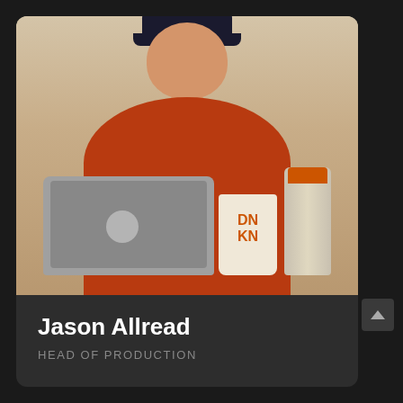[Figure (photo): A man wearing a dark baseball cap and orange/red jacket, smiling while working on a MacBook laptop. A Dunkin' coffee cup and an orange-top tumbler are visible in the foreground.]
Jason Allread
HEAD OF PRODUCTION